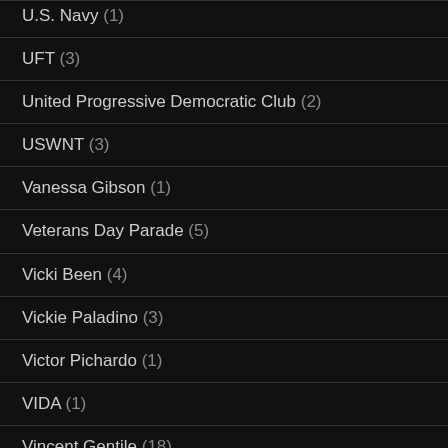U.S. Navy (1)
UFT (3)
United Progressive Democratic Club (2)
USWNT (3)
Vanessa Gibson (1)
Veterans Day Parade (5)
Vicki Been (4)
Vickie Paladino (3)
Victor Pichardo (1)
VIDA (1)
Vincent Gentile (18)
Vincent Ignizio (1)